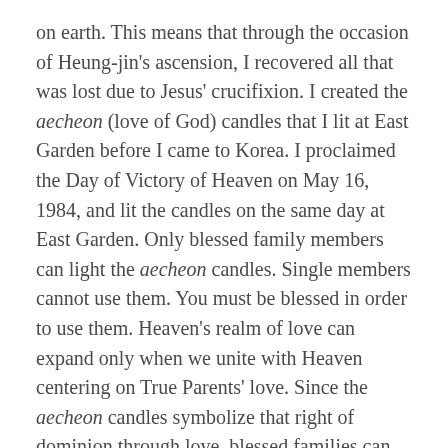on earth. This means that through the occasion of Heung-jin's ascension, I recovered all that was lost due to Jesus' crucifixion. I created the aecheon (love of God) candles that I lit at East Garden before I came to Korea. I proclaimed the Day of Victory of Heaven on May 16, 1984, and lit the candles on the same day at East Garden. Only blessed family members can light the aecheon candles. Single members cannot use them. You must be blessed in order to use them. Heaven's realm of love can expand only when we unite with Heaven centering on True Parents' love. Since the aecheon candles symbolize that right of dominion through love, blessed families can have them and light them.
(19) You can use the aecheon candles during critical times in the nation and the world, when there are serious problems in your family, or when